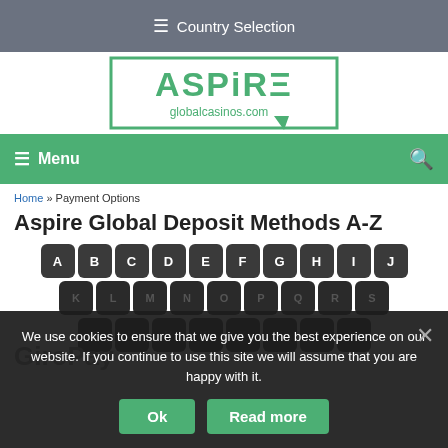≡ Country Selection
[Figure (logo): ASPiRE globalcasinos.com logo in green with border]
≡ Menu (navigation bar with search icon)
Home » Payment Options
Aspire Global Deposit Methods A-Z
[Figure (infographic): Alphabet keyboard-style letter buttons A through Z plus 89, arranged in three rows on dark background for navigation]
GiroPay
We use cookies to ensure that we give you the best experience on our website. If you continue to use this site we will assume that you are happy with it.
Ok  Read more